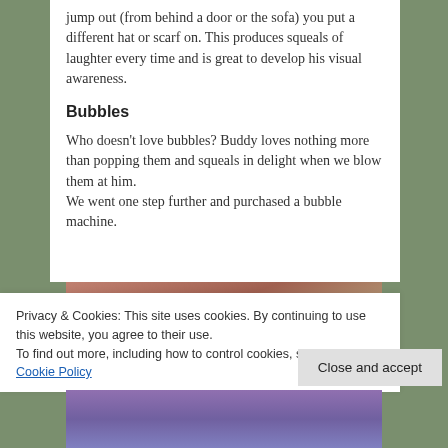jump out (from behind a door or the sofa) you put a different hat or scarf on. This produces squeals of laughter every time and is great to develop his visual awareness.
Bubbles
Who doesn’t love bubbles? Buddy loves nothing more than popping them and squeals in delight when we blow them at him.
We went one step further and purchased a bubble machine.
[Figure (photo): Photo of a baby or child with bubbles floating in the air around them, with colorful reflections on the bubbles.]
Privacy & Cookies: This site uses cookies. By continuing to use this website, you agree to their use.
To find out more, including how to control cookies, see here: Our Cookie Policy
Close and accept
[Figure (photo): Bottom portion of another photo, showing purple and blue tones.]